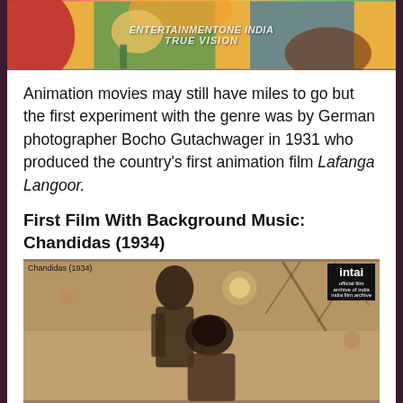[Figure (illustration): Colorful animation-style illustration with watermark text 'ENTERTAINMENTONE INDIA' and 'TRUE VISION']
Animation movies may still have miles to go but the first experiment with the genre was by German photographer Bocho Gutachwager in 1931 who produced the country's first animation film Lafanga Langoor.
First Film With Background Music: Chandidas (1934)
[Figure (photo): Black and white / sepia photograph labeled 'Chandidas (1934)' showing two people, a man standing behind a woman who is looking down. INTAI logo in top right corner.]